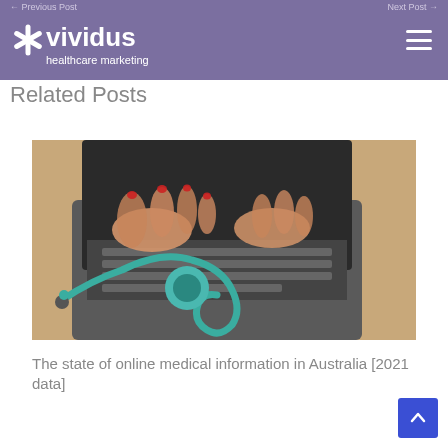← Previous Post    Next Post →
[Figure (logo): Vividus healthcare marketing logo — white asterisk star with text '*vividus' and 'healthcare marketing' beneath on purple background]
Related Posts
[Figure (photo): Person with red painted nails typing on a laptop keyboard with a teal stethoscope resting on a wooden desk beside the laptop]
The state of online medical information in Australia [2021 data]